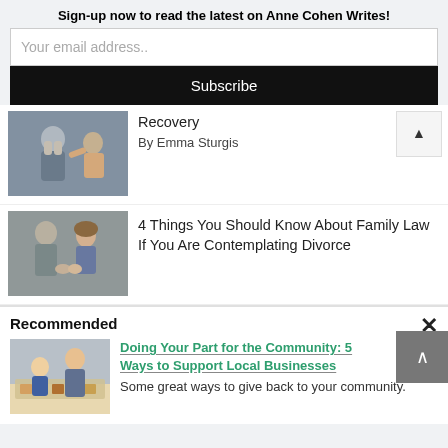Sign-up now to read the latest on Anne Cohen Writes!
Your email address..
Subscribe
[Figure (photo): A man with his head in his hands, distress/recovery scene, with another person touching his shoulder]
Recovery
By Emma Sturgis
[Figure (photo): Two people holding hands, contemplating, family law / divorce context]
4 Things You Should Know About Family Law If You Are Contemplating Divorce
Recommended
[Figure (photo): A child and adult at a store counter with display cases, local business scene]
Doing Your Part for the Community: 5 Ways to Support Local Businesses
Some great ways to give back to your community.